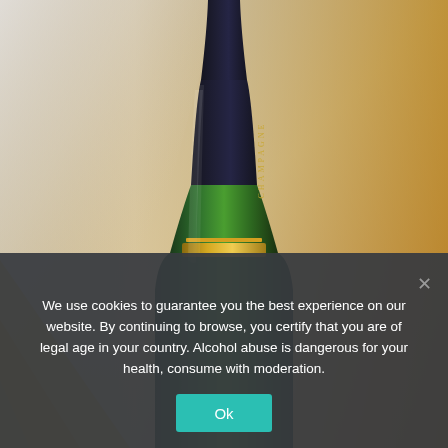[Figure (photo): Close-up photograph of a dark green champagne bottle with a navy and gold foil collar, label reading CHAMPAGNE, set against a blurred warm golden-brown and soft grey background.]
We use cookies to guarantee you the best experience on our website. By continuing to browse, you certify that you are of legal age in your country. Alcohol abuse is dangerous for your health, consume with moderation.
Ok